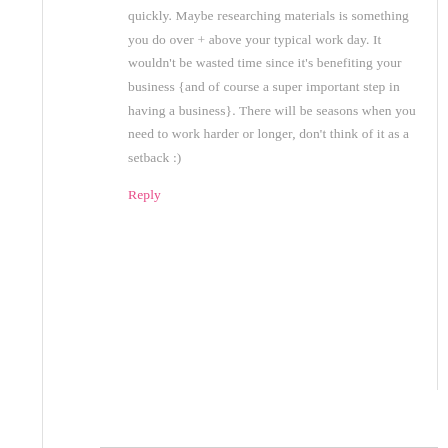quickly. Maybe researching materials is something you do over + above your typical work day. It wouldn't be wasted time since it's benefiting your business {and of course a super important step in having a business}. There will be seasons when you need to work harder or longer, don't think of it as a setback :)
Reply